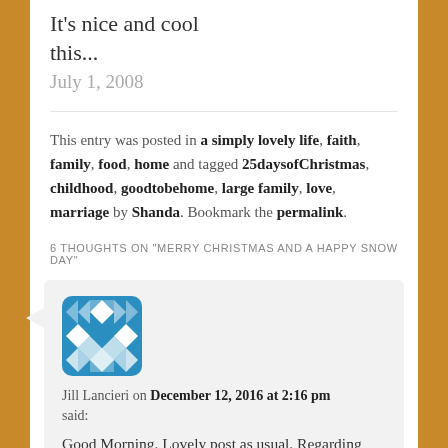It's nice and cool this...
July 1, 2008
This entry was posted in a simply lovely life, faith, family, food, home and tagged 25daysofChristmas, childhood, goodtobehome, large family, love, marriage by Shanda. Bookmark the permalink.
6 THOUGHTS ON "MERRY CHRISTMAS AND A HAPPY SNOW DAY"
[Figure (illustration): Blue geometric/mosaic avatar icon for commenter Jill Lancieri]
Jill Lancieri on December 12, 2016 at 2:16 pm said:
Good Morning. Lovely post as usual. Regarding your cat, do you know feed him special food? Our cat, Maxx, had this same problem and it will reoccur if he doesn't